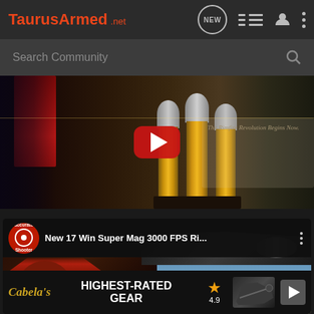TaurusArmed.net
Search Community
[Figure (screenshot): YouTube video thumbnail showing large rifle cartridges/bullets on display stand with 'The Rimfire Revolution Begins Now.' text visible, YouTube play button overlay in center]
[Figure (screenshot): YouTube video thumbnail for 'New 17 Win Super Mag 3000 FPS Ri...' from AccurateShooter channel, showing man in red shirt and sunglasses with desert/rifle scene. Bottom shows Cabela's advertisement: 'HIGHEST-RATED GEAR' with 4.9 star rating]
New 17 Win Super Mag 3000 FPS Ri...
Cabelas HIGHEST-RATED GEAR 4.9